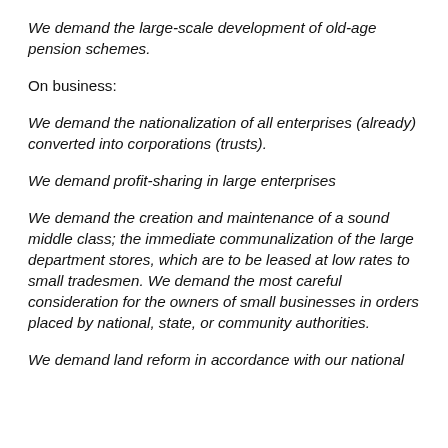We demand the large-scale development of old-age pension schemes.
On business:
We demand the nationalization of all enterprises (already) converted into corporations (trusts).
We demand profit-sharing in large enterprises
We demand the creation and maintenance of a sound middle class; the immediate communalization of the large department stores, which are to be leased at low rates to small tradesmen. We demand the most careful consideration for the owners of small businesses in orders placed by national, state, or community authorities.
We demand land reform in accordance with our national...